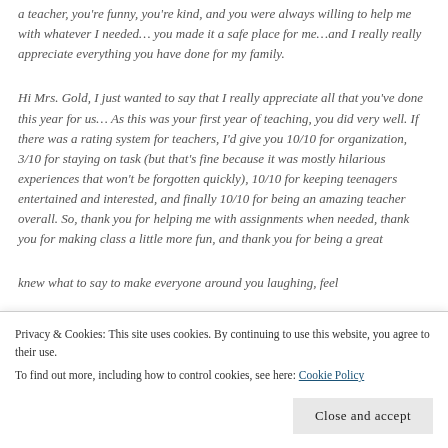a teacher, you're funny, you're kind, and you were always willing to help me with whatever I needed… you made it a safe place for me…and I really really appreciate everything you have done for my family.
Hi Mrs. Gold, I just wanted to say that I really appreciate all that you've done this year for us… As this was your first year of teaching, you did very well. If there was a rating system for teachers, I'd give you 10/10 for organization, 3/10 for staying on task (but that's fine because it was mostly hilarious experiences that won't be forgotten quickly), 10/10 for keeping teenagers entertained and interested, and finally 10/10 for being an amazing teacher overall. So, thank you for helping me with assignments when needed, thank you for making class a little more fun, and thank you for being a great...
knew what to say to make everyone around you laughing, feel...
Privacy & Cookies: This site uses cookies. By continuing to use this website, you agree to their use.
To find out more, including how to control cookies, see here: Cookie Policy